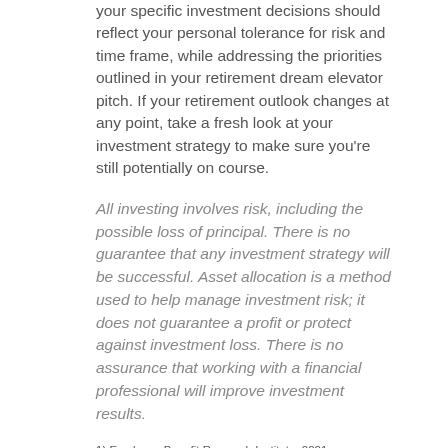your specific investment decisions should reflect your personal tolerance for risk and time frame, while addressing the priorities outlined in your retirement dream elevator pitch. If your retirement outlook changes at any point, take a fresh look at your investment strategy to make sure you're still potentially on course.
All investing involves risk, including the possible loss of principal. There is no guarantee that any investment strategy will be successful. Asset allocation is a method used to help manage investment risk; it does not guarantee a profit or protect against investment loss. There is no assurance that working with a financial professional will improve investment results.
1) Employee Benefit Research Institute, 2021
This information is not intended as tax, legal, investment, or retirement advice or recommendations, and it may not be relied on for the purpose of avoiding any federal tax penalties. You are encouraged to seek guidance from an independent tax or legal professional. The content is derived from sources